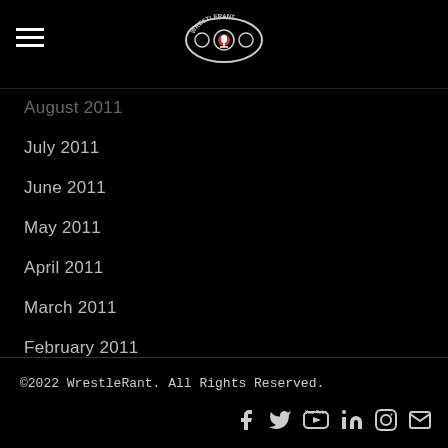WrestleRant logo header with hamburger menu
August 2011
July 2011
June 2011
May 2011
April 2011
March 2011
February 2011
January 2011
December 2010
November 2010
RSS Feed
©2022 WrestleRant. All Rights Reserved.